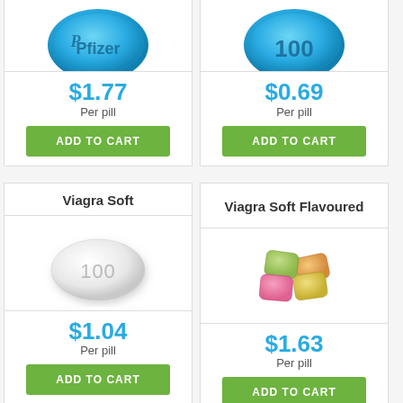[Figure (photo): Blue diamond-shaped pill with Pfizer logo (top, partially cut off)]
[Figure (photo): Blue diamond-shaped pill with '100' text (top, partially cut off)]
$1.77
Per pill
ADD TO CART
$0.69
Per pill
ADD TO CART
Viagra Soft
[Figure (photo): White oval pill with '100' text]
$1.04
Per pill
ADD TO CART
Viagra Soft Flavoured
[Figure (photo): Colorful chewable gum-like pills (pink, orange, green)]
$1.63
Per pill
ADD TO CART